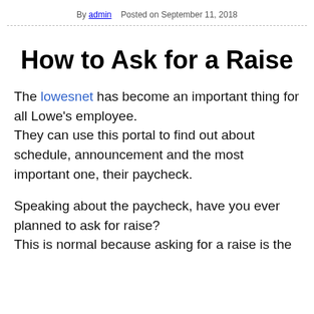By admin   Posted on September 11, 2018
How to Ask for a Raise
The lowesnet has become an important thing for all Lowe's employee.
They can use this portal to find out about schedule, announcement and the most important one, their paycheck.
Speaking about the paycheck, have you ever planned to ask for raise?
This is normal because asking for a raise is the